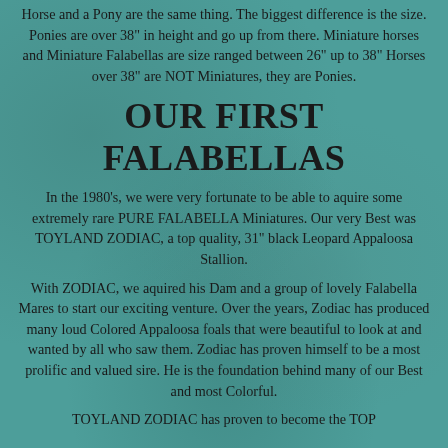Horse and a Pony are the same thing. The biggest difference is the size. Ponies are over 38" in height and go up from there. Miniature horses and Miniature Falabellas are size ranged between 26" up to 38" Horses over 38" are NOT Miniatures, they are Ponies.
OUR FIRST FALABELLAS
In the 1980's, we were very fortunate to be able to aquire some extremely rare PURE FALABELLA Miniatures. Our very Best was TOYLAND ZODIAC, a top quality, 31" black Leopard Appaloosa Stallion.
With ZODIAC, we aquired his Dam and a group of lovely Falabella Mares to start our exciting venture. Over the years, Zodiac has produced many loud Colored Appaloosa foals that were beautiful to look at and wanted by all who saw them. Zodiac has proven himself to be a most prolific and valued sire. He is the foundation behind many of our Best and most Colorful.
TOYLAND ZODIAC has proven to become the TOP